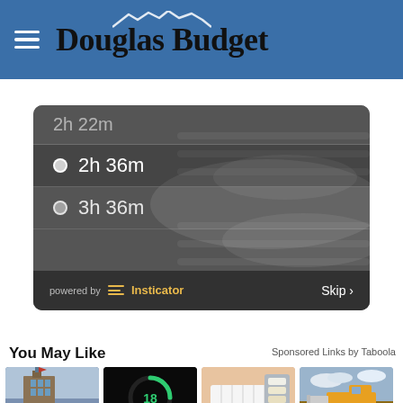Douglas Budget
[Figure (screenshot): Video/timer widget showing times 2h 22m, 2h 36m, 3h 36m with powered by Insticator branding and Skip button, on dark grey background]
You May Like
Sponsored Links by Taboola
[Figure (photo): Photo of students walking near a historic building (Fanshawe College)]
Best Fanshawe College A...
[Figure (photo): Dark background with glowing green circular loading indicator showing 18]
Here Are 23+ Hottest Gifts Of 2022
[Figure (photo): Close-up of dental veneer shade guide held against teeth]
Here Is What Full Mouth Dental...
[Figure (photo): Yellow bulldozer/construction equipment on a construction site]
Construction Jobs - Constructi...